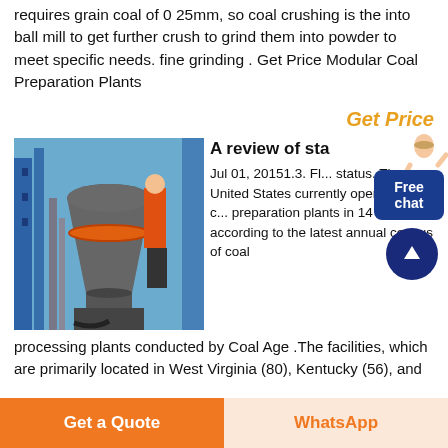requires grain coal of 0 25mm, so coal crushing is the into ball mill to get further crush to grind them into powder to meet specific needs. fine grinding . Get Price Modular Coal Preparation Plants
Get Price
[Figure (photo): Industrial coal mill/crusher equipment at a processing plant, showing a large grey conical grinding machine with orange accent ring, blue structural framework, and a worker in orange safety gear in the background.]
A review of sta...
Jul 01, 20151.3. Fl... status. The United States currently operates 268 c... preparation plants in 14 states according to the latest annual census of coal processing plants conducted by Coal Age .The facilities, which are primarily located in West Virginia (80), Kentucky (56), and
Get a Quote
WhatsApp